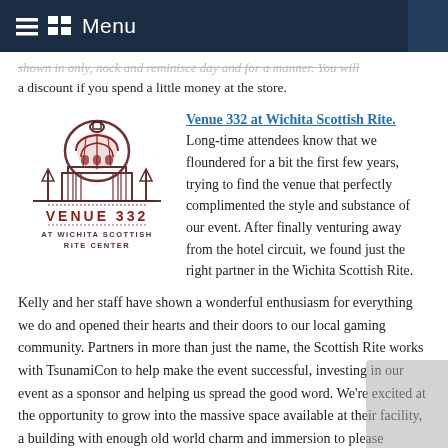Menu
a discount if you spend a little money at the store.
[Figure (logo): Venue 332 at Wichita Scottish Rite Center logo — illustration of a domed building with 'VENUE 332 AT WICHITA SCOTTISH RITE CENTER' text]
Venue 332 at Wichita Scottish Rite. Long-time attendees know that we floundered for a bit the first few years, trying to find the venue that perfectly complimented the style and substance of our event. After finally venturing away from the hotel circuit, we found just the right partner in the Wichita Scottish Rite.
Kelly and her staff have shown a wonderful enthusiasm for everything we do and opened their hearts and their doors to our local gaming community. Partners in more than just the name, the Scottish Rite works with TsunamiCon to help make the event successful, investing in our event as a sponsor and helping us spread the good word. We're excited at the opportunity to grow into the massive space available at their facility, a building with enough old world charm and immersion to please everyone's